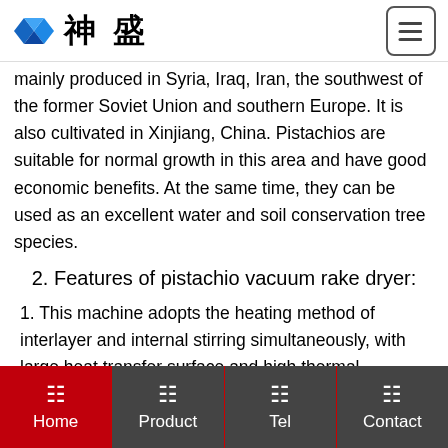神盛 [logo]
mainly produced in Syria, Iraq, Iran, the southwest of the former Soviet Union and southern Europe. It is also cultivated in Xinjiang, China. Pistachios are suitable for normal growth in this area and have good economic benefits. At the same time, they can be used as an excellent water and soil conservation tree species.
2. Features of pistachio vacuum rake dryer:
1. This machine adopts the heating method of interlayer and internal stirring simultaneously, with large heat transfer surface and high thermal efficiency;
Home | Product | Tel | Contact